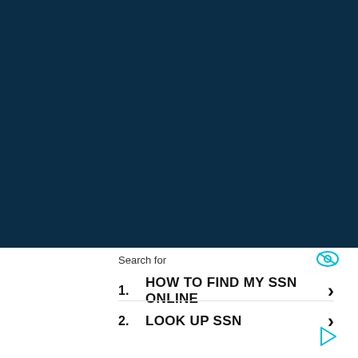[Figure (other): Large dark navy blue rectangular background filling the top portion of the page]
Search for
1.   HOW TO FIND MY SSN ONLINE
2.   LOOK UP SSN